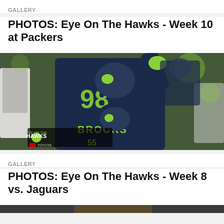GALLERY
PHOTOS: Eye On The Hawks - Week 10 at Packers
[Figure (photo): Seattle Seahawks player in navy and neon green jersey #98 celebrating on field, with teammate BROOKS #55 in foreground, against background of fans. Eye on the Hawks / Toyota logo visible in bottom left.]
GALLERY
PHOTOS: Eye On The Hawks - Week 8 vs. Jaguars